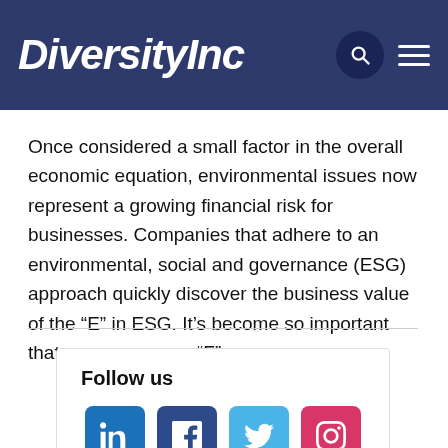DiversityInc
Once considered a small factor in the overall economic equation, environmental issues now represent a growing financial risk for businesses. Companies that adhere to an environmental, social and governance (ESG) approach quickly discover the business value of the “E” in ESG. It’s become so important that some argue an “F”…
Follow us